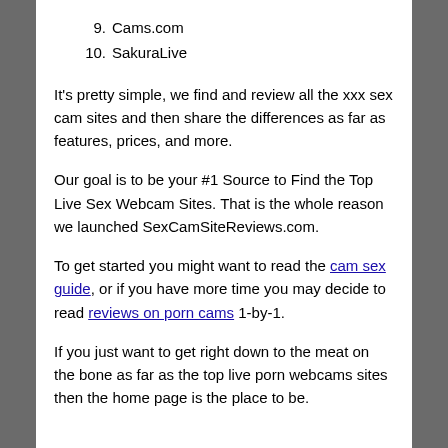9. Cams.com
10. SakuraLive
It's pretty simple, we find and review all the xxx sex cam sites and then share the differences as far as features, prices, and more.
Our goal is to be your #1 Source to Find the Top Live Sex Webcam Sites. That is the whole reason we launched SexCamSiteReviews.com.
To get started you might want to read the cam sex guide, or if you have more time you may decide to read reviews on porn cams 1-by-1.
If you just want to get right down to the meat on the bone as far as the top live porn webcams sites then the home page is the place to be.